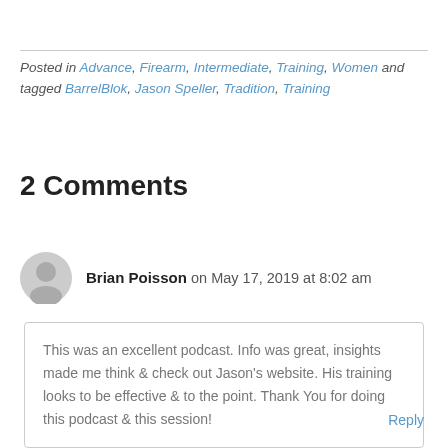Posted in Advance, Firearm, Intermediate, Training, Women and tagged BarrelBlok, Jason Speller, Tradition, Training
2 Comments
Brian Poisson on May 17, 2019 at 8:02 am
This was an excellent podcast. Info was great, insights made me think & check out Jason's website. His training looks to be effective & to the point. Thank You for doing this podcast & this session!
Reply